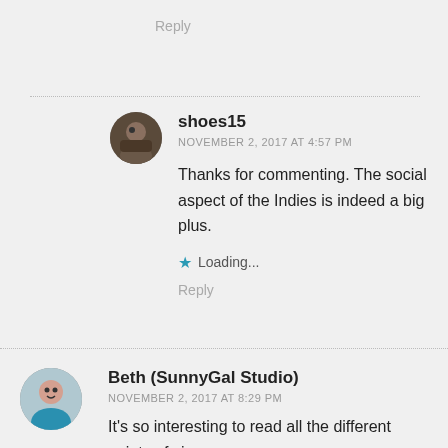Reply
shoes15
NOVEMBER 2, 2017 AT 4:57 PM
Thanks for commenting. The social aspect of the Indies is indeed a big plus.
Loading...
Reply
Beth (SunnyGal Studio)
NOVEMBER 2, 2017 AT 8:29 PM
It's so interesting to read all the different points of view